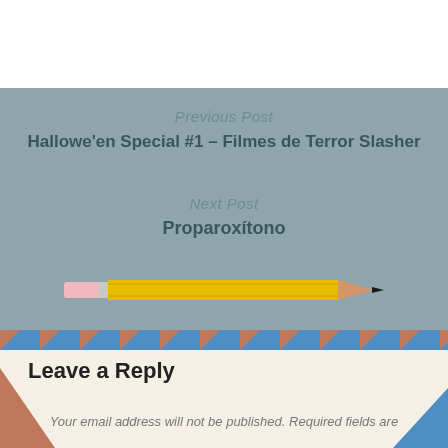Previous Post
Hallowe'en Special #1 – Filmes de Terror Slasher
Next Post
Proparoxítono
[Figure (illustration): Yellow pencil illustration with pink eraser on left and dark tip on right]
Leave a Reply
Your email address will not be published. Required fields are